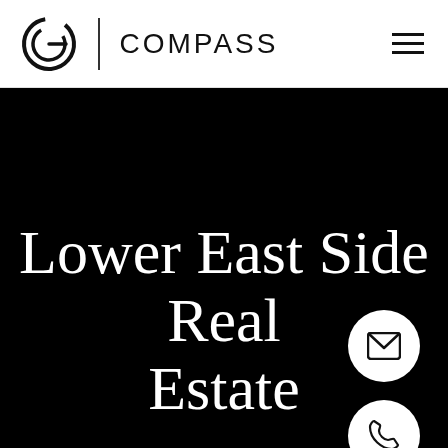[Figure (logo): Compass real estate logo: stylized G circle icon, vertical divider line, and COMPASS text in spaced capitals]
[Figure (illustration): Hamburger menu icon: three horizontal black lines]
Lower East Side Real Estate
[Figure (illustration): White circular button with envelope/email icon]
[Figure (illustration): White circular button with phone/handset icon]